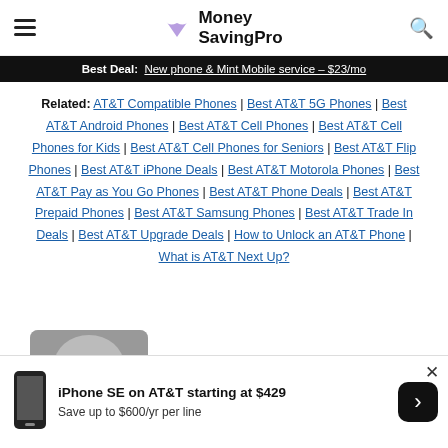MoneySavingPro
Best Deal: New phone & Mint Mobile service – $23/mo
Related: AT&T Compatible Phones | Best AT&T 5G Phones | Best AT&T Android Phones | Best AT&T Cell Phones | Best AT&T Cell Phones for Kids | Best AT&T Cell Phones for Seniors | Best AT&T Flip Phones | Best AT&T iPhone Deals | Best AT&T Motorola Phones | Best AT&T Pay as You Go Phones | Best AT&T Phone Deals | Best AT&T Prepaid Phones | Best AT&T Samsung Phones | Best AT&T Trade In Deals | Best AT&T Upgrade Deals | How to Unlock an AT&T Phone | What is AT&T Next Up?
iPhone SE on AT&T starting at $429
Save up to $600/yr per line